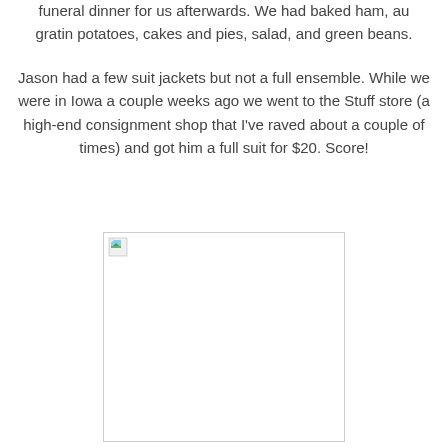funeral dinner for us afterwards.  We had baked ham, au gratin potatoes, cakes and pies, salad, and green beans.
Jason had a few suit jackets but not a full ensemble.  While we were in Iowa a couple weeks ago we went to the Stuff store (a high-end consignment shop that I've raved about a couple of times) and got him a full suit for $20.  Score!
[Figure (photo): A photo placeholder showing a broken image icon in the top-left corner, with a white background inside a light gray border rectangle.]